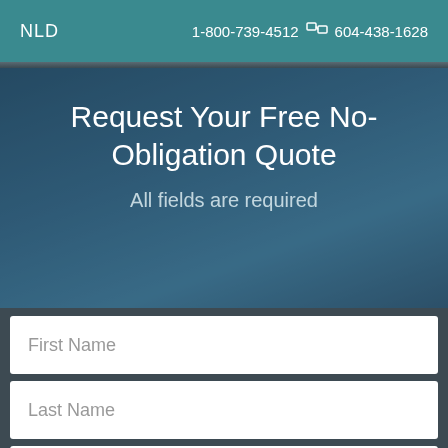NLD  1-800-739-4512  604-438-1628
Request Your Free No-Obligation Quote
All fields are required
First Name
Last Name
Contact Number
Email